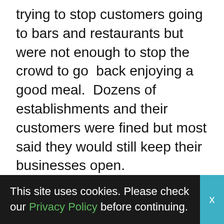trying to stop customers going to bars and restaurants but were not enough to stop the crowd to go back enjoying a good meal. Dozens of establishments and their customers were fined but most said they would still keep their businesses open.

Poland also decided a big reopening with the support of a group of highlanders invoking veto power to stop a government acting against the good of the people. Inhabitants of the Tatra mountains a region that lives from tourism and
This site uses cookies. Please check our Privacy Policy before continuing.